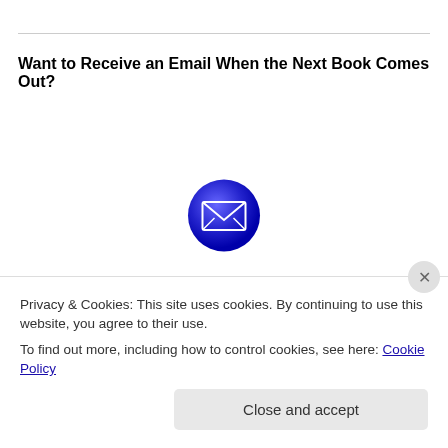Want to Receive an Email When the Next Book Comes Out?
[Figure (illustration): Blue circular button icon with white envelope/mail symbol in the center]
[Figure (illustration): Partial view of a Baltimore book cover with colorful dot pattern strip]
Privacy & Cookies: This site uses cookies. By continuing to use this website, you agree to their use.
To find out more, including how to control cookies, see here: Cookie Policy
Close and accept